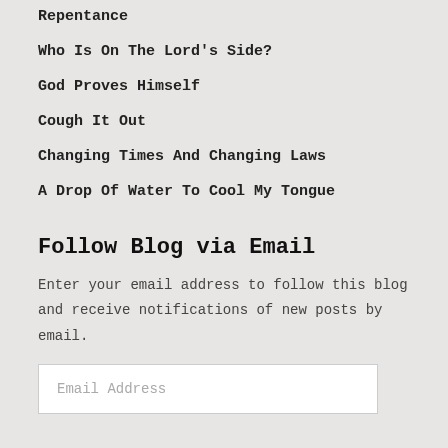Repentance
Who Is On The Lord's Side?
God Proves Himself
Cough It Out
Changing Times And Changing Laws
A Drop Of Water To Cool My Tongue
Follow Blog via Email
Enter your email address to follow this blog and receive notifications of new posts by email.
Email Address